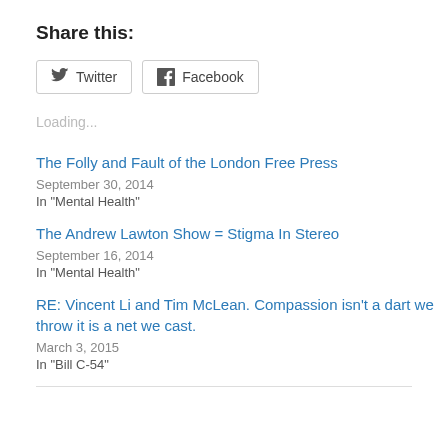Share this:
Twitter  Facebook
Loading...
The Folly and Fault of the London Free Press
September 30, 2014
In "Mental Health"
The Andrew Lawton Show = Stigma In Stereo
September 16, 2014
In "Mental Health"
RE: Vincent Li and Tim McLean. Compassion isn't a dart we throw it is a net we cast.
March 3, 2015
In "Bill C-54"